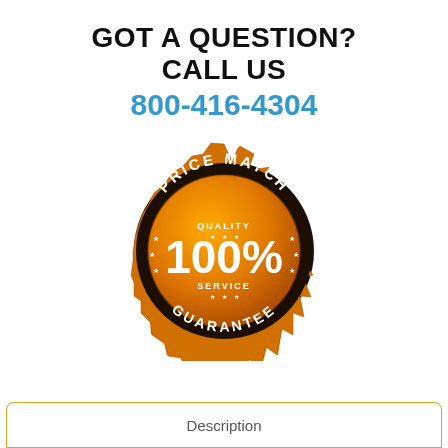GOT A QUESTION?
CALL US
800-416-4304
[Figure (illustration): Price Match Guarantee badge: circular orange and black badge with serrated/sunburst edge, text reading 'PRICE MATCH' on top arc and 'GUARANTEE' on bottom arc in white, center shows '100%' in large white text, with 'QUALITY' above and 'SERVICE' below in smaller white text, stars decorating the inner circle]
Description